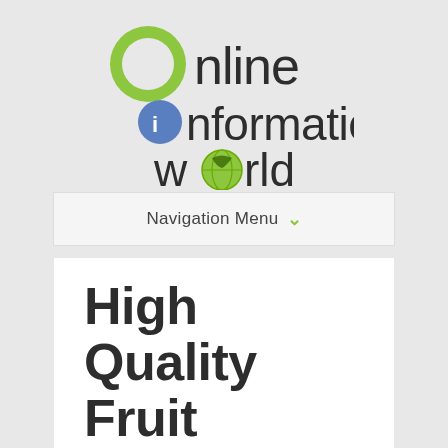[Figure (logo): Online Information World logo with green circle icons for O, i, and o letters]
Navigation Menu ▾
High Quality Fruit Baskets Alexandria, Va